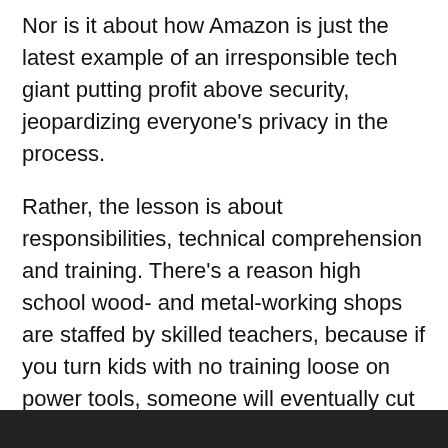Nor is it about how Amazon is just the latest example of an irresponsible tech giant putting profit above security, jeopardizing everyone's privacy in the process.
Rather, the lesson is about responsibilities, technical comprehension and training. There's a reason high school wood- and metal-working shops are staffed by skilled teachers, because if you turn kids with no training loose on power tools, someone will eventually cut off their arm. The same this is true, metaphorically, with cloud services.
Cloud infrastructure is some of the most sophisticated, versatile and yes, complicated